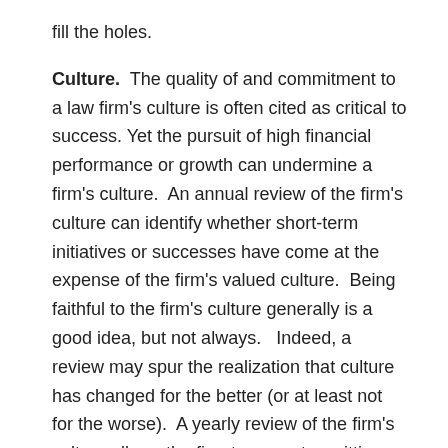fill the holes.
Culture. The quality of and commitment to a law firm's culture is often cited as critical to success. Yet the pursuit of high financial performance or growth can undermine a firm's culture. An annual review of the firm's culture can identify whether short-term initiatives or successes have come at the expense of the firm's valued culture. Being faithful to the firm's culture generally is a good idea, but not always. Indeed, a review may spur the realization that culture has changed for the better (or at least not for the worse). A yearly review of the firm's culture allows the firm to correct unwitting detours, embrace good changes, and plan for a future in which the firm's culture is aligned with its strategy.